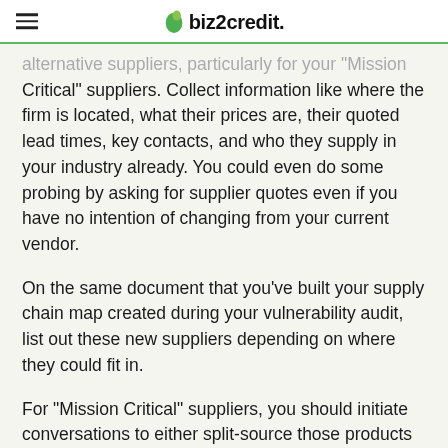biz2credit
alternative suppliers, particularly for your “Mission Critical” suppliers. Collect information like where the firm is located, what their prices are, their quoted lead times, key contacts, and who they supply in your industry already. You could even do some probing by asking for supplier quotes even if you have no intention of changing from your current vendor.
On the same document that you’ve built your supply chain map created during your vulnerability audit, list out these new suppliers depending on where they could fit in.
For “Mission Critical” suppliers, you should initiate conversations to either split-source those products or develop short-notice supplier relationships should your primary supplier run into issues.